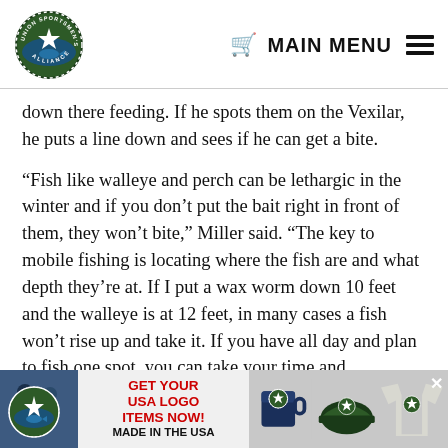Union Sportsmen's Alliance — MAIN MENU
down there feeding. If he spots them on the Vexilar, he puts a line down and sees if he can get a bite.
“Fish like walleye and perch can be lethargic in the winter and if you don’t put the bait right in front of them, they won’t bite,” Miller said. “The key to mobile fishing is locating where the fish are and what depth they’re at. If I put a wax worm down 10 feet and the walleye is at 12 feet, in many cases a fish won’t rise up and take it. If you have all day and plan to fish one spot, you can take your time and experiment. I’m
[Figure (other): Advertisement banner for Union Sportsmen’s Alliance USA Logo Items with mug, cap, and shirt merchandise photos. Text: GET YOUR USA LOGO ITEMS NOW! MADE IN THE USA]